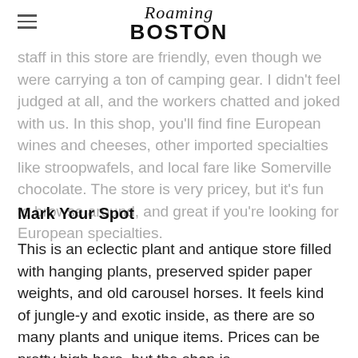Roaming Boston
staff in this store are friendly, even though we were carrying a ton of camping gear. I didn't feel judged at all, and the workers chatted and joked with us. In this shop, you'll find fine European wines and cheeses, other imported specialties like stroopwafels, and local fare like Somerville chocolate. The store is very pricey, but it's fun to browse around, and great if you're looking for European specialties.
Mark Your Spot
This is an eclectic plant and antique store filled with hanging plants, preserved spider paper weights, and old carousel horses. It feels kind of jungle-y and exotic inside, as there are so many plants and unique items. Prices can be pretty high here, but the shop is